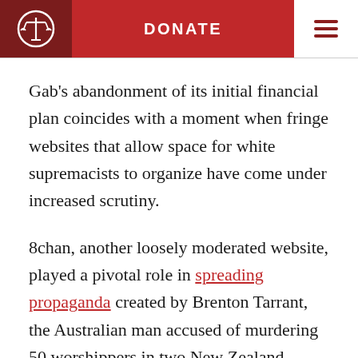DONATE
Gab's abandonment of its initial financial plan coincides with a moment when fringe websites that allow space for white supremacists to organize have come under increased scrutiny.
8chan, another loosely moderated website, played a pivotal role in spreading propaganda created by Brenton Tarrant, the Australian man accused of murdering 50 worshippers in two New Zealand mosques March 15.